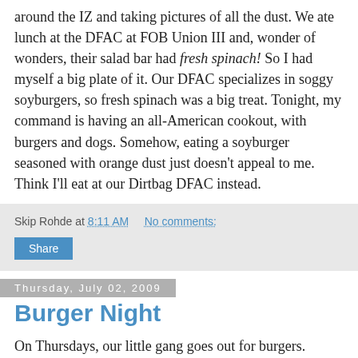around the IZ and taking pictures of all the dust. We ate lunch at the DFAC at FOB Union III and, wonder of wonders, their salad bar had fresh spinach! So I had myself a big plate of it. Our DFAC specializes in soggy soyburgers, so fresh spinach was a big treat. Tonight, my command is having an all-American cookout, with burgers and dogs. Somehow, eating a soyburger seasoned with orange dust just doesn't appeal to me. Think I'll eat at our Dirtbag DFAC instead.
Skip Rohde at 8:11 AM   No comments:
Share
Thursday, July 02, 2009
Burger Night
On Thursdays, our little gang goes out for burgers. There's a DFAC here in the IZ (I won't say which one - it's a secret!) that makes the best burgers this side of New York. Truly. Now, all the DFACs here make mass-produced burgers as part of their regular fare. Some do a pretty good job. But